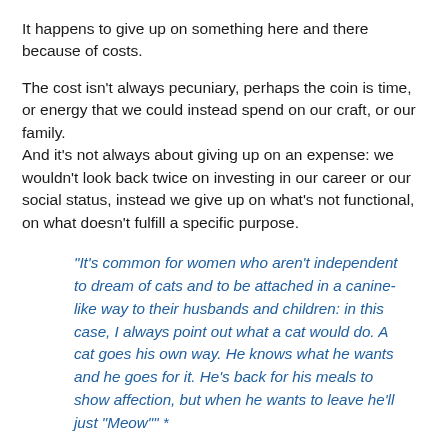It happens to give up on something here and there because of costs.
The cost isn't always pecuniary, perhaps the coin is time, or energy that we could instead spend on our craft, or our family.
And it's not always about giving up on an expense: we wouldn't look back twice on investing in our career or our social status, instead we give up on what's not functional, on what doesn't fulfill a specific purpose.
“It’s common for women who aren’t independent to dream of cats and to be attached in a canine-like way to their husbands and children: in this case, I always point out what a cat would do. A cat goes his own way. He knows what he wants and he goes for it. He’s back for his meals to show affection, but when he wants to leave he’ll just “Meow”” *